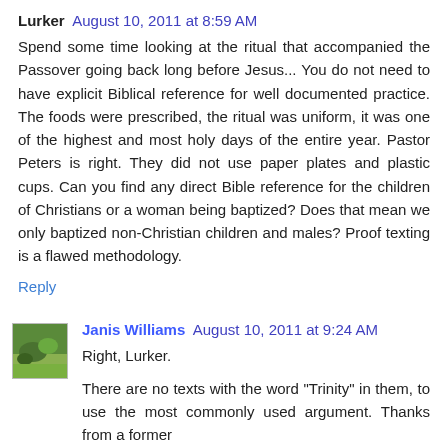Lurker August 10, 2011 at 8:59 AM
Spend some time looking at the ritual that accompanied the Passover going back long before Jesus... You do not need to have explicit Biblical reference for well documented practice. The foods were prescribed, the ritual was uniform, it was one of the highest and most holy days of the entire year. Pastor Peters is right. They did not use paper plates and plastic cups. Can you find any direct Bible reference for the children of Christians or a woman being baptized? Does that mean we only baptized non-Christian children and males? Proof texting is a flawed methodology.
Reply
Janis Williams August 10, 2011 at 9:24 AM
Right, Lurker.
There are no texts with the word "Trinity" in them, to use the most commonly used argument. Thanks from a former proof-texter.